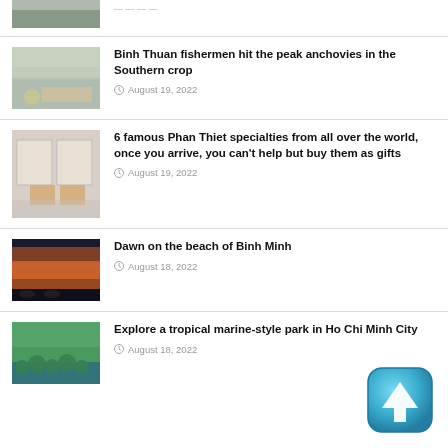[Figure (photo): Partial article thumbnail at top, partially visible]
Binh Thuan fishermen hit the peak anchovies in the Southern crop
August 19, 2022
6 famous Phan Thiet specialties from all over the world, once you arrive, you can't help but buy them as gifts
August 19, 2022
Dawn on the beach of Binh Minh
August 18, 2022
Explore a tropical marine-style park in Ho Chi Minh City
August 18, 2022
[Figure (illustration): Blue scroll-to-top button with upward arrow, bottom right corner]